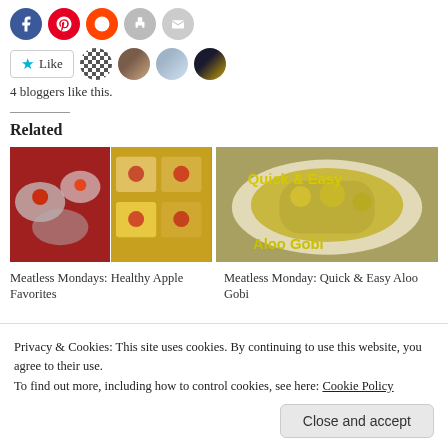[Figure (other): Social sharing icons: Facebook (blue), Pinterest (red), Reddit (orange-red), Print (gray), Email (gray)]
[Figure (other): Like button with star, blogger avatars (pattern, woman, couple, city night photo), showing 4 bloggers like this]
4 bloggers like this.
Related
[Figure (photo): Two food photos side by side: left shows appetizers with white cream and red sauce, right shows heart-shaped mini pizzas with red sauce and cheese]
[Figure (photo): Bowl of Quick & Easy Aloo Gobi (potato cauliflower dish) with text overlay 'Quick & Easy Aloo Gobi' in yellow]
Meatless Mondays: Healthy Apple Favorites
Meatless Monday: Quick & Easy Aloo Gobi
Privacy & Cookies: This site uses cookies. By continuing to use this website, you agree to their use.
To find out more, including how to control cookies, see here: Cookie Policy